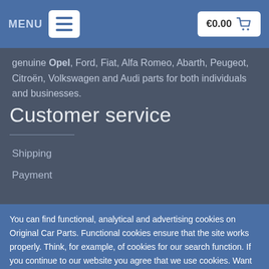MENU  €0.00
genuine Opel, Ford, Fiat, Alfa Romeo, Abarth, Peugeot, Citroën, Volkswagen and Audi parts for both individuals and businesses.
Customer service
Shipping
Payment
You can find functional, analytical and advertising cookies on Original Car Parts. Functional cookies ensure that the site works properly. Think, for example, of cookies for our search function. If you continue to our website you agree that we use cookies. Want to know more about cookies? Then click on more information